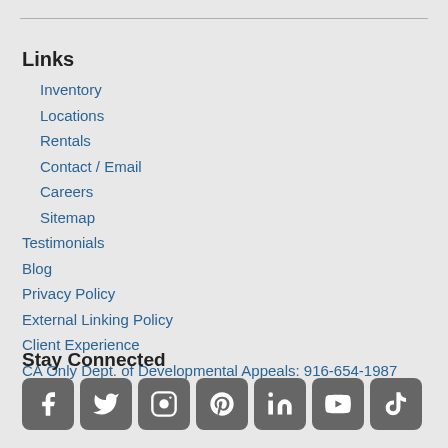Links
Inventory
Locations
Rentals
Contact / Email
Careers
Sitemap
Testimonials
Blog
Privacy Policy
External Linking Policy
Client Experience
CA Only Dept. of Developmental Appeals: 916-654-1987
Stay Connected
[Figure (other): Social media icons row: Facebook, Twitter, Instagram, Pinterest, LinkedIn, YouTube, TikTok]